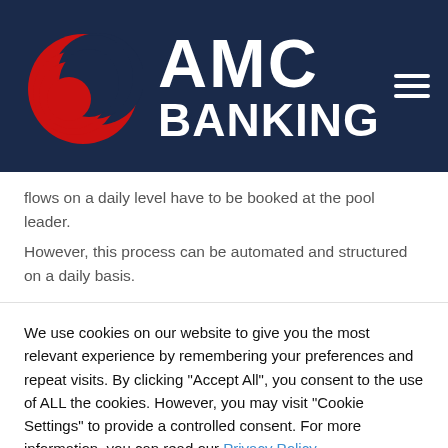[Figure (logo): AMC Banking logo — red circular globe icon on dark navy background with 'AMC BANKING' text in white bold font and hamburger menu icon]
flows on a daily level have to be booked at the pool leader.

However, this process can be automated and structured on a daily basis.
We use cookies on our website to give you the most relevant experience by remembering your preferences and repeat visits. By clicking "Accept All", you consent to the use of ALL the cookies. However, you may visit "Cookie Settings" to provide a controlled consent. For more information, you can read our Privacy Policy
Cookie Settings | Accept All